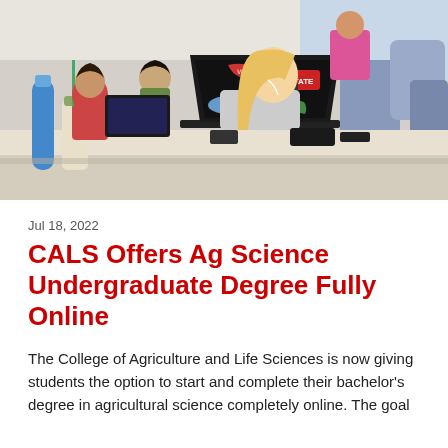[Figure (photo): Students sitting at a table in a study area or library, working on laptops. In the foreground, a blonde female student in a gray shirt uses a laptop decorated with NC State stickers including 'NC STATE' in red, 'FARMER STRONG', a whale, and NC state outline stickers. A Starbucks drink and blue water bottle are visible. Other students are visible in the background.]
Jul 18, 2022
CALS Offers Ag Science Undergraduate Degree Fully Online
The College of Agriculture and Life Sciences is now giving students the option to start and complete their bachelor's degree in agricultural science completely online. The goal